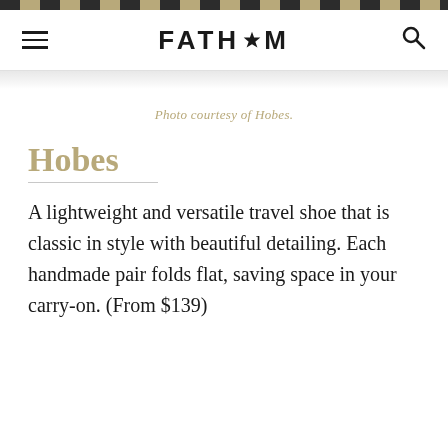FATH*M
Photo courtesy of Hobes.
Hobes
A lightweight and versatile travel shoe that is classic in style with beautiful detailing. Each handmade pair folds flat, saving space in your carry-on. (From $139)